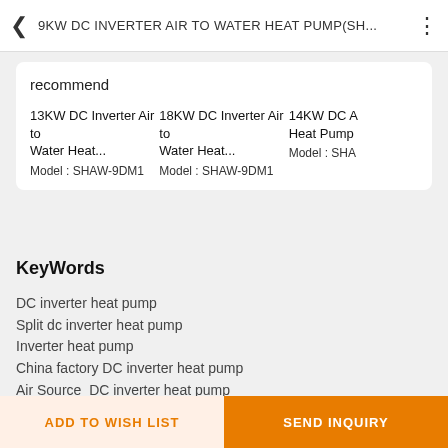9KW DC INVERTER AIR TO WATER HEAT PUMP(SH...
recommend
13KW DC Inverter Air to Water Heat...
Model : SHAW-9DM1
18KW DC Inverter Air to Water Heat...
Model : SHAW-9DM1
14KW DC A Heat Pump
Model : SHA
KeyWords
DC inverter heat pump
Split dc inverter heat pump
Inverter heat pump
China factory DC inverter heat pump
Air Source  DC inverter heat pump
DC inverter heat pump manufacturer
ADD TO WISH LIST   SEND INQUIRY